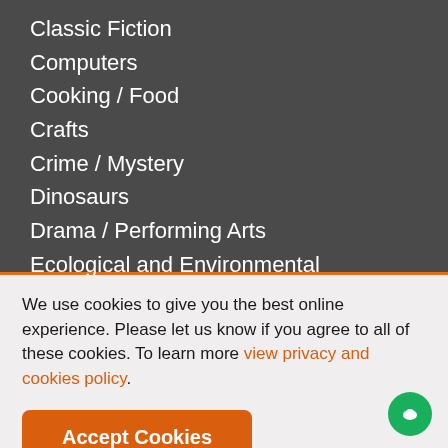Classic Fiction
Computers
Cooking / Food
Crafts
Crime / Mystery
Dinosaurs
Drama / Performing Arts
Ecological and Environmental
Ecological and Environmental
We use cookies to give you the best online experience. Please let us know if you agree to all of these cookies. To learn more view privacy and cookies policy.
Accept Cookies